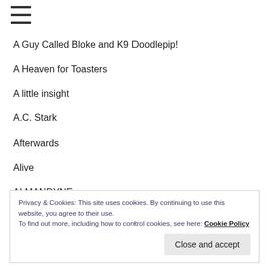≡
A Guy Called Bloke and K9 Doodlepip!
A Heaven for Toasters
A little insight
A.C. Stark
Afterwards
Alive
ALMANDYNE
and the words that echo..
Privacy & Cookies: This site uses cookies. By continuing to use this website, you agree to their use.
To find out more, including how to control cookies, see here: Cookie Policy
Close and accept